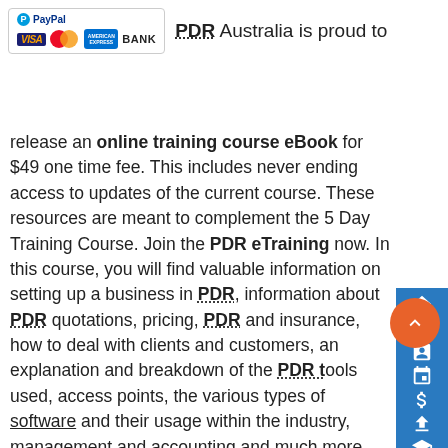[Figure (logo): PayPal payment icons box with VISA, MasterCard, American Express, BANK logos]
PDR Australia is proud to release an online training course eBook for $49 one time fee. This includes never ending access to updates of the current course. These resources are meant to complement the 5 Day Training Course. Join the PDR eTraining now. In this course, you will find valuable information on setting up a business in PDR, information about PDR quotations, pricing, PDR and insurance, how to deal with clients and customers, an explanation and breakdown of the PDR tools used, access points, the various types of software and their usage within the industry, management and accounting and much more. This has been described by some "as one of the most extensive set of Paintless Dent Removal resources in the world". It has been extensively reviewed and now being expanded even further with several modules including accounting and business management with
[Figure (infographic): Blue sidebar navigation with home, piggy bank, clipboard, calendar, dollar sign, upload, graduation icons. Orange scroll-to-top circular button.]